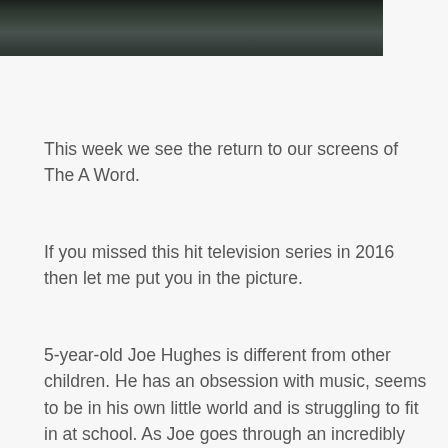[Figure (photo): A group photo of people outdoors against a rocky background, appearing to be a TV show cast photo]
This week we see the return to our screens of The A Word.
If you missed this hit television series in 2016 then let me put you in the picture.
5-year-old Joe Hughes is different from other children. He has an obsession with music, seems to be in his own little world and is struggling to fit in at school. As Joe goes through an incredibly fast autism assessment process (it takes years for most children to get an autism diagnosis but lets face it that probably wouldn't have made great TV) we watch as his mother, Alison,